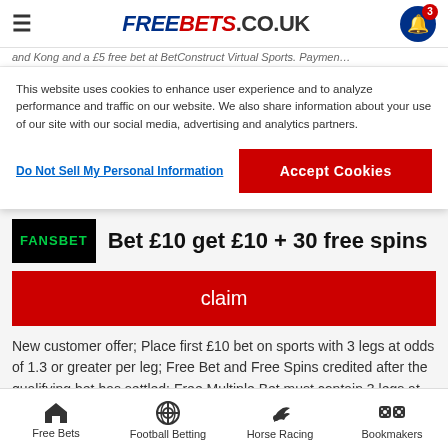FREEBETS.CO.UK
and Kong and a £5 free bet at BetConstruct Virtual Sports. Paymen...
This website uses cookies to enhance user experience and to analyze performance and traffic on our website. We also share information about your use of our site with our social media, advertising and analytics partners.
Do Not Sell My Personal Information
Accept Cookies
Bet £10 get £10 + 30 free spins
claim
New customer offer; Place first £10 bet on sports with 3 legs at odds of 1.3 or greater per leg; Free Bet and Free Spins credited after the qualifying bet has settled; Free Multiple Bet must contain 3 legs at odds of 1.3 or greater per leg; Free Bet and Free Spin stakes not returned; No wagering requirements on winnings; £200 max win; T&C's apply; 18+
Free Bets | Football Betting | Horse Racing | Bookmakers